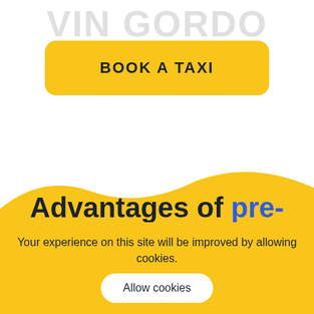[Figure (screenshot): Faded watermark text of a taxi/transport brand name at the top of the page in light gray]
BOOK A TAXI
[Figure (illustration): Yellow wave shape forming background for the bottom section]
Advantages of pre-
Your experience on this site will be improved by allowing cookies.
Allow cookies